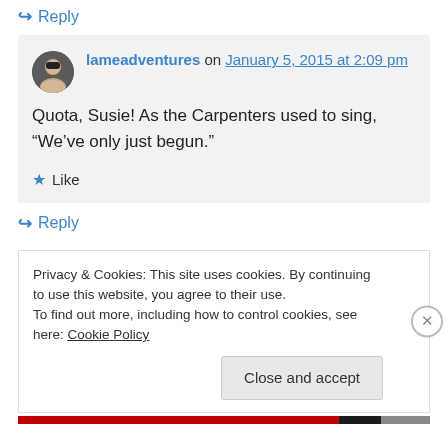↪ Reply
lameadventures on January 5, 2015 at 2:09 pm
Quota, Susie! As the Carpenters used to sing, “We’ve only just begun.”
★ Like
↪ Reply
Privacy & Cookies: This site uses cookies. By continuing to use this website, you agree to their use.
To find out more, including how to control cookies, see here: Cookie Policy
Close and accept